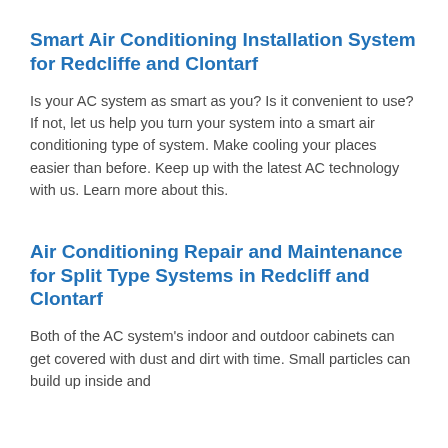Smart Air Conditioning Installation System for Redcliffe and Clontarf
Is your AC system as smart as you? Is it convenient to use? If not, let us help you turn your system into a smart air conditioning type of system. Make cooling your places easier than before. Keep up with the latest AC technology with us. Learn more about this.
Air Conditioning Repair and Maintenance for Split Type Systems in Redcliff and Clontarf
Both of the AC system's indoor and outdoor cabinets can get covered with dust and dirt with time. Small particles can build up inside and